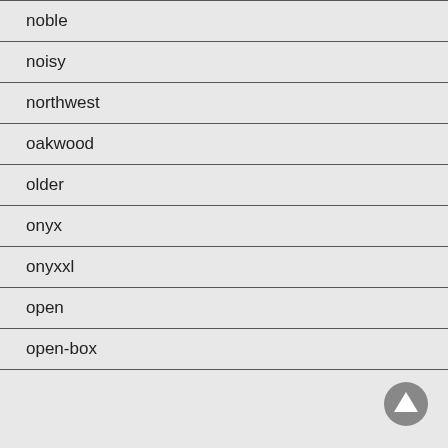noble
noisy
northwest
oakwood
older
onyx
onyxxl
open
open-box